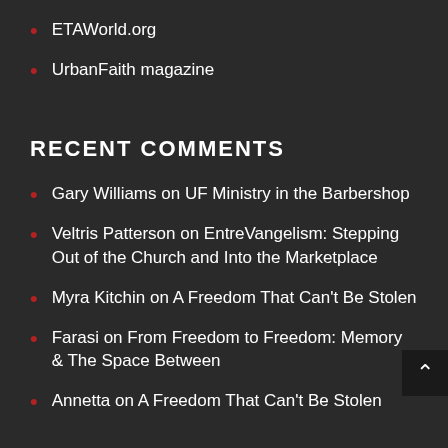ETAWorld.org
UrbanFaith magazine
RECENT COMMENTS
Gary Williams on UF Ministry in the Barbershop
Veltris Patterson on EntreVangelism: Stepping Out of the Church and Into the Marketplace
Myra Kitchin on A Freedom That Can't Be Stolen
Farasi on From Freedom to Freedom: Memory & The Space Between
Annetta on A Freedom That Can't Be Stolen